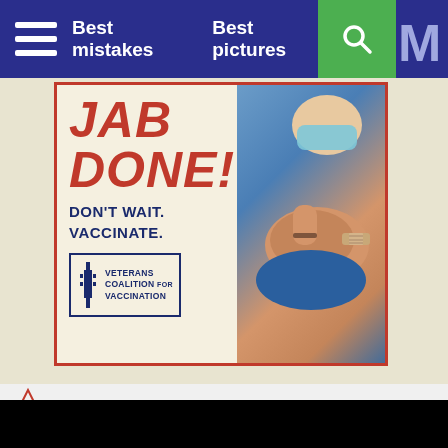Best mistakes   Best pictures
[Figure (photo): Veterans Coalition for Vaccination advertisement poster showing text 'JAB DONE! DON'T WAIT. VACCINATE.' with a person flexing arm showing a bandage, wearing a mask. Veterans Coalition for Vaccination logo and syringe icon visible.]
[Figure (screenshot): Black video player area with a white play button triangle in the center.]